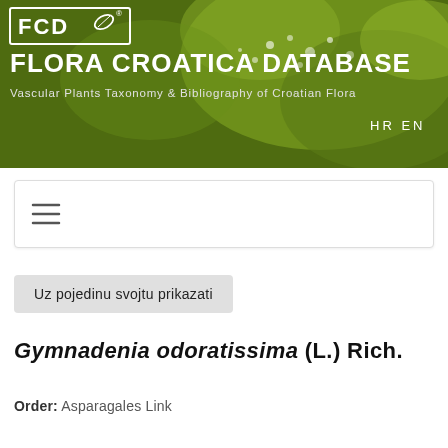[Figure (logo): Flora Croatica Database logo and header banner with green plant background. Shows FCD leaf logo, title FLORA CROATICA DATABASE, subtitle Vascular Plants Taxonomy & Bibliography of Croatian Flora, and HR EN language links.]
[Figure (other): Navigation bar with hamburger menu icon (three horizontal lines)]
Uz pojedinu svojtu prikazati
Gymnadenia odoratissima (L.) Rich.
Order: Asparagales Link